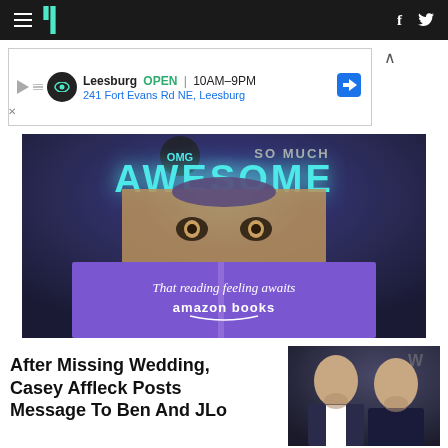HuffPost navigation bar with hamburger menu, logo, Facebook and Twitter icons
[Figure (screenshot): Advertisement banner: Leesburg OPEN 10AM-9PM, 241 Fort Evans Rd NE, Leesburg]
[Figure (photo): Amazon Books advertisement image showing woman reading a purple book with text 'OMG SO MUCH AWESOME - That reading feeling awaits - amazon books']
After Missing Wedding, Casey Affleck Posts Message To Ben And JLo
[Figure (photo): Photo of two men in dark suits, appearing to be Ben Affleck and Casey Affleck at a formal event]